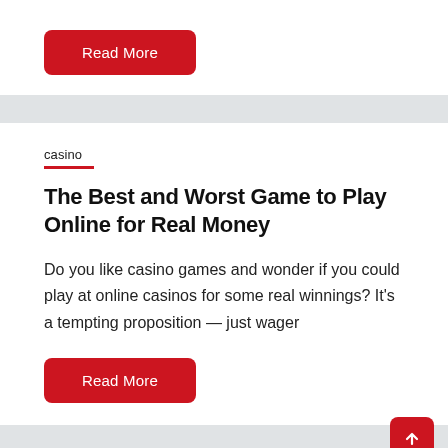Read More
casino
The Best and Worst Game to Play Online for Real Money
Do you like casino games and wonder if you could play at online casinos for some real winnings? It's a tempting proposition — just wager
Read More